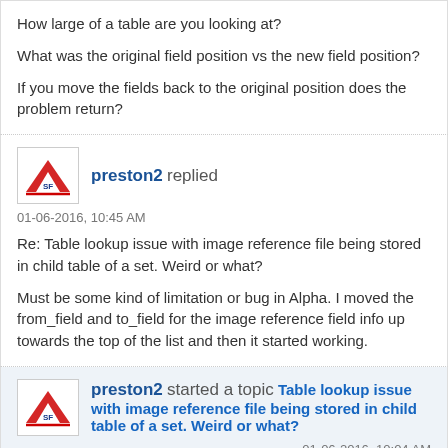How large of a table are you looking at?
What was the original field position vs the new field position?
If you move the fields back to the original position does the problem return?
preston2 replied
01-06-2016, 10:45 AM
Re: Table lookup issue with image reference file being stored in child table of a set. Weird or what?
Must be some kind of limitation or bug in Alpha. I moved the from_field and to_field for the image reference field info up towards the top of the list and then it started working.
preston2 started a topic Table lookup issue with image reference file being stored in child table of a set. Weird or what?
01-06-2016, 10:04 AM
Ok, just plain weird or a limitation in Alpha.